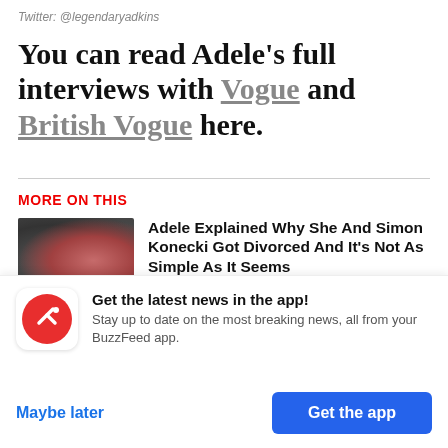Twitter: @legendaryadkins
You can read Adele's full interviews with Vogue and British Vogue here.
MORE ON THIS
[Figure (photo): Photo of Adele and Simon Konecki together at an event]
Adele Explained Why She And Simon Konecki Got Divorced And It's Not As Simple As It Seems
[Figure (photo): Two-panel image: photo of Adele on left, Adele album cover on right]
Adele Appeared To Confirm Her New
Get the latest news in the app! Stay up to date on the most breaking news, all from your BuzzFeed app.
Maybe later
Get the app